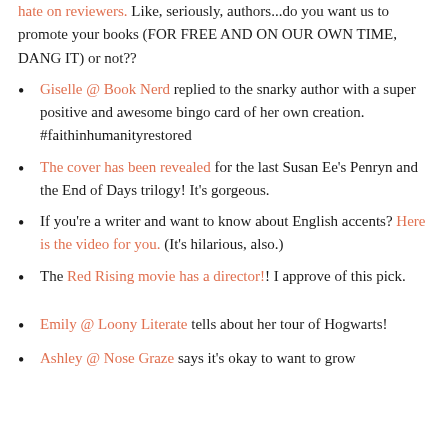hate on reviewers. Like, seriously, authors...do you want us to promote your books (FOR FREE AND ON OUR OWN TIME, DANG IT) or not??
Giselle @ Book Nerd replied to the snarky author with a super positive and awesome bingo card of her own creation. #faithinhumanityrestored
The cover has been revealed for the last Susan Ee's Penryn and the End of Days trilogy! It's gorgeous.
If you're a writer and want to know about English accents? Here is the video for you. (It's hilarious, also.)
The Red Rising movie has a director!! I approve of this pick.
Emily @ Loony Literate tells about her tour of Hogwarts!
Ashley @ Nose Graze says it's okay to want to grow